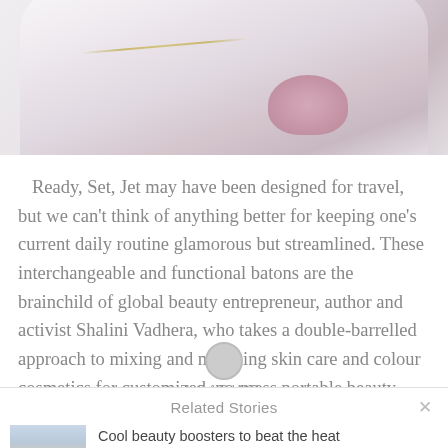[Figure (photo): Close-up of a white cosmetic tube/baton product with a gold ring detail and a pink/mauve tip, on a light background]
Ready, Set, Jet may have been designed for travel, but we can't think of anything better for keeping one's current daily routine glamorous but streamlined. These interchangeable and functional batons are the brainchild of global beauty entrepreneur, author and activist Shalini Vadhera, who takes a double-barrelled approach to mixing and matching skin care and colour cosmetics for customized, no-mess portable beauty.
LOADING
Related Stories
[Figure (photo): Thumbnail image of a woman with blonde hair blowing in wind against a blue sky background]
Cool beauty boosters to beat the heat